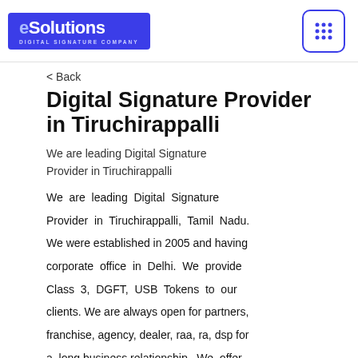[Figure (logo): eSolutions Digital Signature Company logo — white text on blue background with subtitle 'DIGITAL SIGNATURE COMPANY']
[Figure (other): Grid/apps icon — 3x3 dots in a rounded square border in blue]
< Back
Digital Signature Provider in Tiruchirappalli
We are leading Digital Signature Provider in Tiruchirappalli
We are leading Digital Signature Provider in Tiruchirappalli, Tamil Nadu. We were established in 2005 and having corporate office in Delhi. We provide Class 3, DGFT, USB Tokens to our clients. We are always open for partners, franchise, agency, dealer, raa, ra, dsp for a long business relationship. We offer